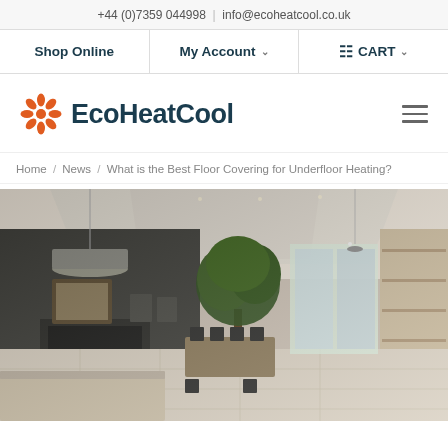+44 (0)7359 044998  |  info@ecoheatcool.co.uk
Shop Online  My Account  CART
[Figure (logo): EcoHeatCool logo with orange snowflake/flower icon and dark teal text]
Home / News / What is the Best Floor Covering for Underfloor Heating?
[Figure (photo): Interior of a modern open-plan space with light tile flooring, a large indoor tree, dark feature wall with fireplace and artwork, pendant lights, dining furniture, and shelving on the right side.]